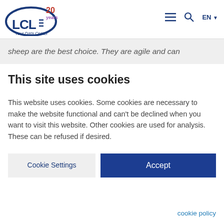[Figure (logo): LCL Your Data Center logo with '20 years' badge in top right]
sheep are the best choice. They are agile and can
This site uses cookies
This website uses cookies. Some cookies are necessary to make the website functional and can't be declined when you want to visit this website. Other cookies are used for analysis. These can be refused if desired.
Cookie Settings | Accept
cookie policy